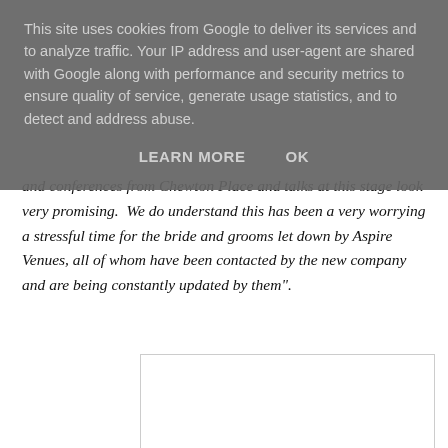This site uses cookies from Google to deliver its services and to analyze traffic. Your IP address and user-agent are shared with Google along with performance and security metrics to ensure quality of service, generate usage statistics, and to detect and address abuse.
LEARN MORE    OK
and conferences from Chewton Place and talks at this stage look very promising.  We do understand this has been a very worrying a stressful time for the bride and grooms let down by Aspire Venues, all of whom have been contacted by the new company and are being constantly updated by them".
[Figure (photo): White rectangular image placeholder box]